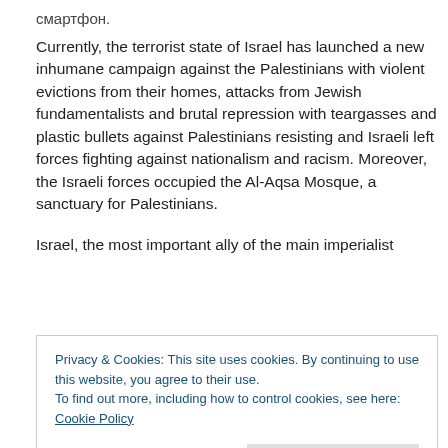Currently, the terrorist state of Israel has launched a new inhumane campaign against the Palestinians with violent evictions from their homes, attacks from Jewish fundamentalists and brutal repression with teargasses and plastic bullets against Palestinians resisting and Israeli left forces fighting against nationalism and racism. Moreover, the Israeli forces occupied the Al-Aqsa Mosque, a sanctuary for Palestinians.
Israel, the most important ally of the main imperialist
Privacy & Cookies: This site uses cookies. By continuing to use this website, you agree to their use.
To find out more, including how to control cookies, see here: Cookie Policy
community' of the imperialist states, as well as the